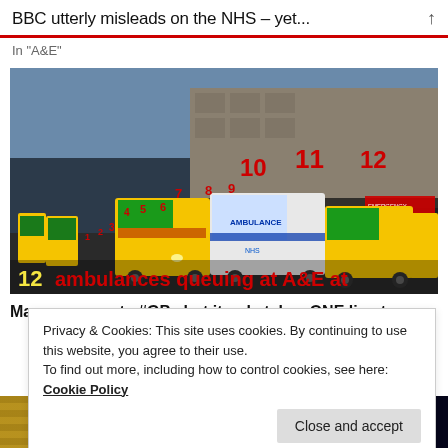BBC utterly misleads on the NHS – yet...
In "A&E"
[Figure (photo): Photo of 12 ambulances queuing outside an A&E department at a hospital, with red numbers 1-12 overlaid on the ambulances and yellow/red text at the bottom reading '12 ambulances queuing at A&E at']
May scapegoats #GPs but it only takes ONE line to see
Privacy & Cookies: This site uses cookies. By continuing to use this website, you agree to their use.
To find out more, including how to control cookies, see here: Cookie Policy
Close and accept